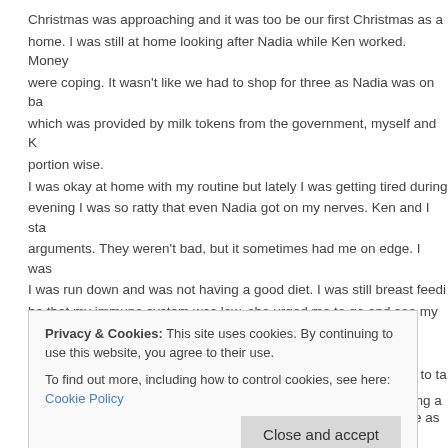Christmas was approaching and it was too be our first Christmas as a home. I was still at home looking after Nadia while Ken worked. Money were coping. It wasn't like we had to shop for three as Nadia was on ba which was provided by milk tokens from the government, myself and K portion wise. I was okay at home with my routine but lately I was getting tired during evening I was so ratty that even Nadia got on my nerves. Ken and I sta arguments. They weren't bad, but it sometimes had me on edge. I was I was run down and was not having a good diet. I was still breast feedi be that my immune system was low, she urged me to go and see my G prescription for some tonic or vitamins. I did, and after I explained all what I was feeling, he got the nurse to ta urine test and advised me to drink plenty of water and rest. The doctor called me back in later that day. I sat down in his office as h needed some tonic but not because I was rundown or anaemic, but be the post. He said congratulations and I left. Walking out the building a m
Privacy & Cookies: This site uses cookies. By continuing to use this website, you agree to their use. To find out more, including how to control cookies, see here: Cookie Policy
Close and accept